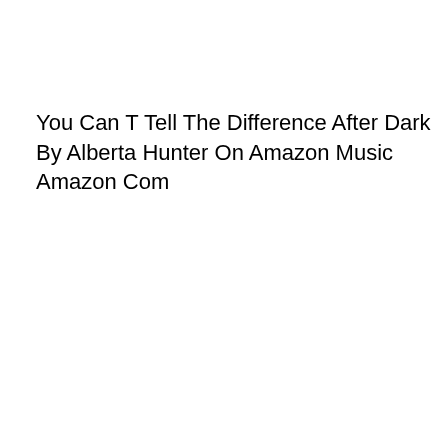You Can T Tell The Difference After Dark By Alberta Hunter On Amazon Music Amazon Com